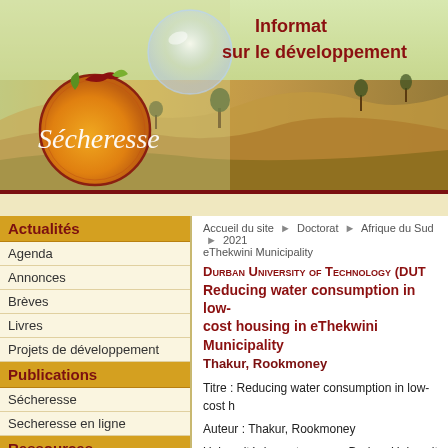[Figure (illustration): Sécheresse journal website banner with landscape/desert background showing arid terrain with sparse trees, a water droplet bubble on left, and the Sécheresse logo (orange/red circular emblem with white italic text). Top right has red bold French text 'Informations sur le développement'.]
Informations sur le développement
Sécheresse
Actualités
Agenda
Annonces
Brèves
Livres
Projets de développement
Publications
Sécheresse
Secheresse en ligne
Ressources
Actes, Manuels, Guides
Bibliographie
Accueil du site > Doctorat > Afrique du Sud > 2021 eThekwini Municipality
Durban University of Technology (DUT) - Reducing water consumption in low-cost housing in eThekwini Municipality
Thakur, Rookmoney
Titre : Reducing water consumption in low-cost h...
Auteur : Thakur, Rookmoney
Université de soutenance : Durban University o...
Grade : Doctor of Philosophy in Public Administra...